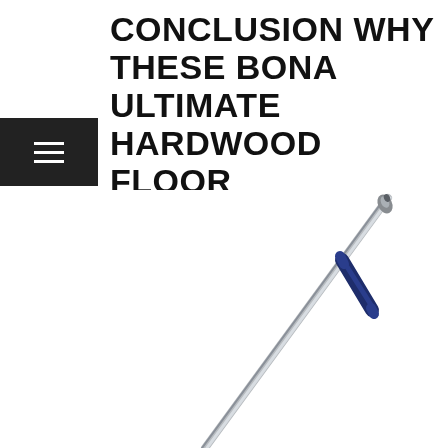CONCLUSION WHY THESE BONA ULTIMATE HARDWOOD FLOOR PRODUCTS WORTH TO BUY
[Figure (photo): A Bona mop handle — a long slim silver/aluminum pole with a dark navy blue grip section near the top, and a rounded grey/silver tip at the very top. The handle is shown diagonally at an angle against a white background.]